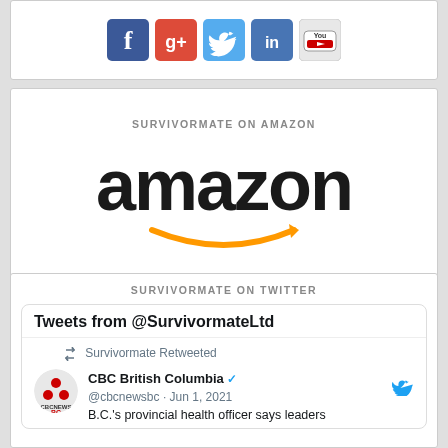[Figure (illustration): Social media icons: Facebook, Google+, Twitter, LinkedIn, YouTube]
SURVIVORMATE ON AMAZON
[Figure (logo): Amazon logo with orange arrow smile]
SURVIVORMATE ON TWITTER
Tweets from @SurvivormateLtd
Survivormate Retweeted
CBC British Columbia @cbcnewsbc · Jun 1, 2021
B.C.'s provincial health officer says leaders